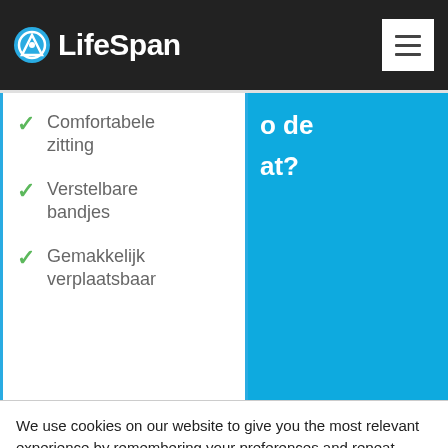LifeSpan
Comfortabele zitting
Verstelbare bandjes
Gemakkelijk verplaatsbaar
[Figure (other): Blue panel with partial text 'o de' and 'at?' in white bold font, partially cropped]
We use cookies on our website to give you the most relevant experience by remembering your preferences and repeat visits. By clicking “Accept”, you consent to the use of ALL the cookies.
Cookie settings  ACCEPT